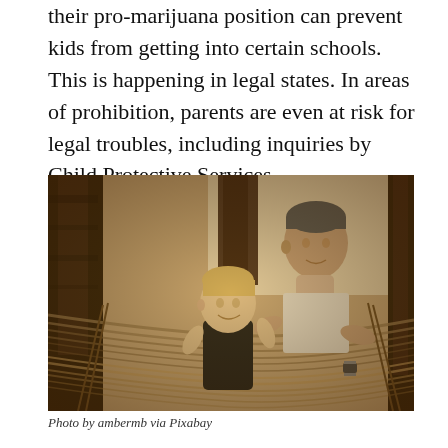their pro-marijuana position can prevent kids from getting into certain schools. This is happening in legal states. In areas of prohibition, parents are even at risk for legal troubles, including inquiries by Child Protective Services.
[Figure (photo): Sepia-toned photograph of an adult man and a young child (toddler) lying together in a hammock outdoors, smiling and looking at each other. Trees visible in background.]
Photo by ambermb via Pixabay